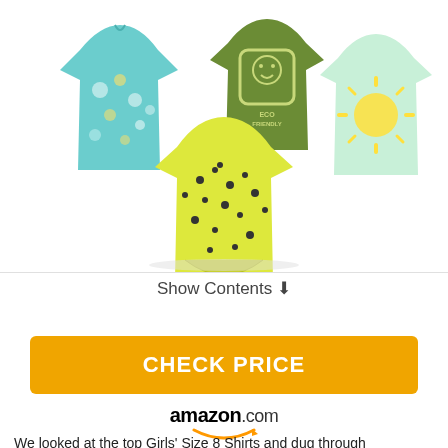[Figure (photo): Product photo showing four girls' t-shirts: a teal floral print top (top left), an olive green 'ECO FRIENDLY' graphic tee (top center), a mint green sunshine graphic tee (top right), and a yellow/black spotted knotted front t-shirt (center front).]
Show Contents ↓
CHECK PRICE
[Figure (logo): amazon.com logo with orange smile/arrow underneath]
We looked at the top Girls' Size 8 Shirts and dug through